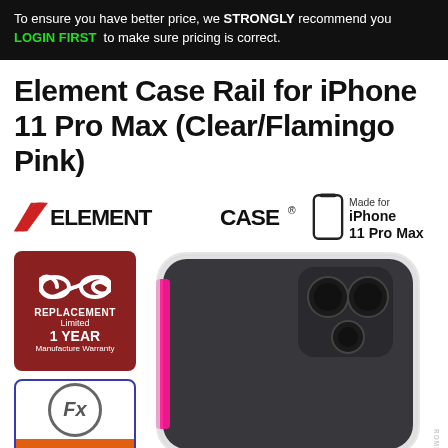To ensure you have better price, we STRONGLY recommend you LOGIN FIRST to make sure pricing is correct.
Element Case Rail for iPhone 11 Pro Max (Clear/Flamingo Pink)
[Figure (logo): Element Case logo with chevron icon, phone outline icon, and 'Made for iPhone 11 Pro Max' text]
[Figure (photo): iPhone 11 Pro Max in Element Case Rail Clear/Flamingo Pink case, with replacement warranty badge and Fx badge visible]